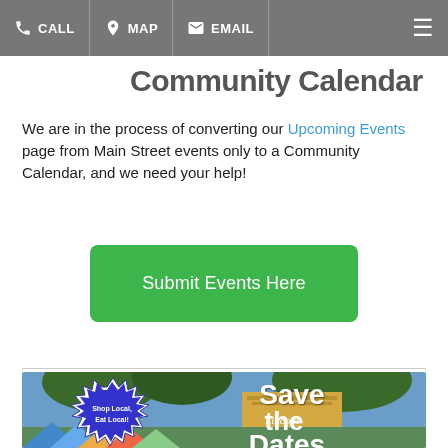CALL  MAP  EMAIL
Community Calendar
We are in the process of converting our Upcoming Events page from Main Street events only to a Community Calendar, and we need your help!
Submit Events Here
[Figure (photo): Outdoor farmers market or community event with tents, trees, and the Lincoln building in the background. A starburst badge reads 'Shop Local, Eat Local!' and large white text reads 'Save the Dates'.]